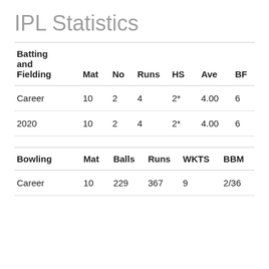IPL Statistics
| Batting and Fielding | Mat | No | Runs | HS | Ave | BF |
| --- | --- | --- | --- | --- | --- | --- |
| Career | 10 | 2 | 4 | 2* | 4.00 | 6 |
| 2020 | 10 | 2 | 4 | 2* | 4.00 | 6 |
| Bowling | Mat | Balls | Runs | WKTS | BBM |
| --- | --- | --- | --- | --- | --- |
| Career | 10 | 229 | 367 | 9 | 2/36 |